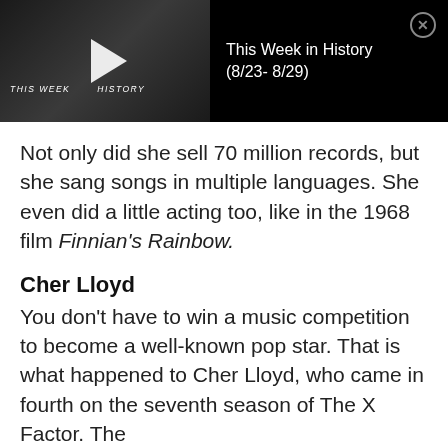[Figure (screenshot): Video overlay showing 'This Week in History (8/23-8/29)' with a dark thumbnail featuring a play button and the text 'THIS WEEK IN HISTORY', and a close (X) button in the top right corner.]
Not only did she sell 70 million records, but she sang songs in multiple languages. She even did a little acting too, like in the 1968 film Finnian's Rainbow.
Cher Lloyd
You don't have to win a music competition to become a well-known pop star. That is what happened to Cher Lloyd, who came in fourth on the seventh season of The X Factor. The